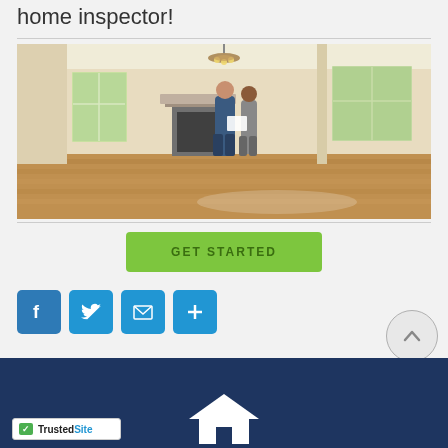home inspector!
[Figure (photo): Two people standing in an empty living room with hardwood floors, a fireplace, windows, and a chandelier. Appears to be a home inspection scene.]
GET STARTED
[Figure (infographic): Social share buttons: Facebook, Twitter, Email, and a plus/share button]
[Figure (logo): TrustedSite badge with green checkmark]
[Figure (logo): White house/roof logo icon at bottom center]